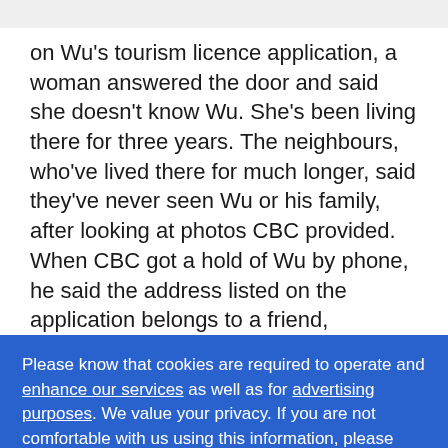on Wu's tourism licence application, a woman answered the door and said she doesn't know Wu. She's been living there for three years. The neighbours, who've lived there for much longer, said they've never seen Wu or his family, after looking at photos CBC provided.
When CBC got a hold of Wu by phone, he said the address listed on the application belongs to a friend,
Please know that cookies are required to operate and enhance our services as well as for advertising purposes. We value your privacy. If you are not comfortable with us using this information, please review your settings before continuing your visit.